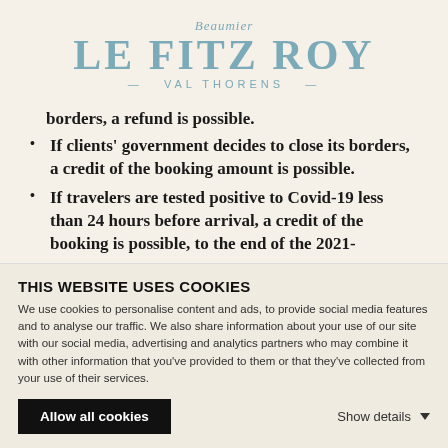[Figure (logo): Le Fitz Roy hotel logo with Beaumier script above and VAL THORENS subtitle below, in steel blue]
borders, a refund is possible.
If clients' government decides to close its borders, a credit of the booking amount is possible.
If travelers are tested positive to Covid-19 less than 24 hours before arrival, a credit of the booking is possible, to the end of the 2021-
THIS WEBSITE USES COOKIES
We use cookies to personalise content and ads, to provide social media features and to analyse our traffic. We also share information about your use of our site with our social media, advertising and analytics partners who may combine it with other information that you've provided to them or that they've collected from your use of their services.
Allow all cookies
Show details